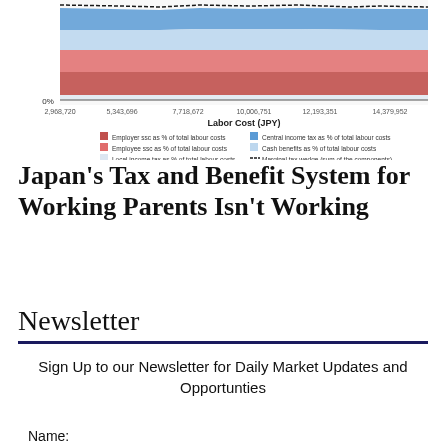[Figure (area-chart): Area chart showing components of tax wedge (employer SSC, employee SSC, central income tax, local income tax, cash benefits, marginal tax wedge) as % of total labour costs across labor cost values from 2,968,720 to 14,379,952 JPY. The 0% line is visible. Legend shows 6 items.]
Japan's Tax and Benefit System for Working Parents Isn't Working
Newsletter
Sign Up to our Newsletter for Daily Market Updates and Opportunties
Name: